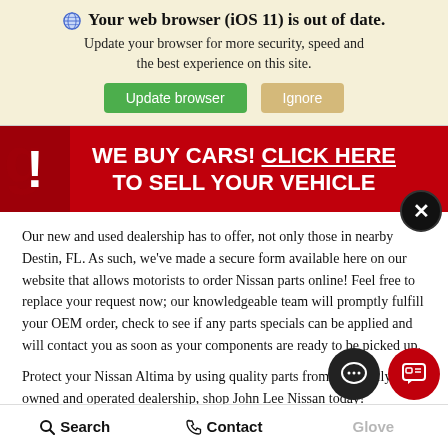🌐 Your web browser (iOS 11) is out of date. Update your browser for more security, speed and the best experience on this site.
Update browser   Ignore
WE BUY CARS! CLICK HERE TO SELL YOUR VEHICLE
Our new and used dealership has to offer, not only those in nearby Destin, FL. As such, we've made a secure form available here on our website that allows motorists to order Nissan parts online! Feel free to replace your request now; our knowledgeable team will promptly fulfill your OEM order, check to see if any parts specials can be applied and will contact you as soon as your components are ready to be picked up.
Protect your Nissan Altima by using quality parts from our family-owned and operated dealership, shop John Lee Nissan today!
Search   Contact   Glove